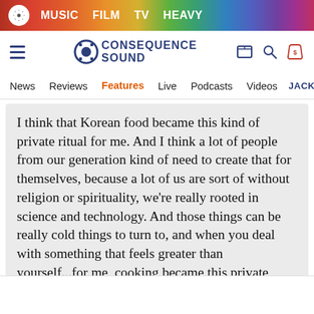MUSIC  FILM  TV  HEAVY
[Figure (logo): Consequence of Sound logo with gear icon and text CONSEQUENCE SOUND]
News  Reviews  Features  Live  Podcasts  Videos  JACK WH
I think that Korean food became this kind of private ritual for me. And I think a lot of people from our generation kind of need to create that for themselves, because a lot of us are sort of without religion or spirituality, we're really rooted in science and technology. And those things can be really cold things to turn to, and when you deal with something that feels greater than yourself...for me, cooking became this private ritual that I could interact